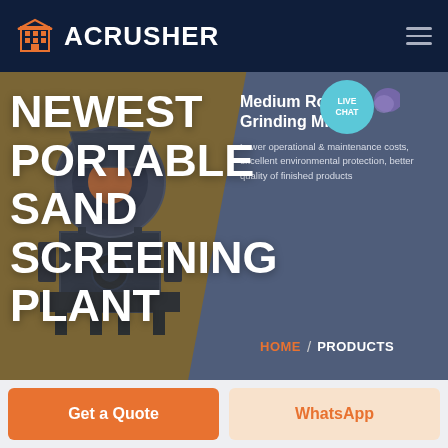ACRUSHER
[Figure (screenshot): Website screenshot of ACRUSHER product page showing 'NEWEST PORTABLE SAND SCREENING PLANT' hero banner with machinery image and navigation]
NEWEST PORTABLE SAND SCREENING PLANT
Medium Roller Grinding Mill
Lower operational & maintenance costs, excellent environmental protection, better quality of finished products
HOME / PRODUCTS
Get a Quote
WhatsApp